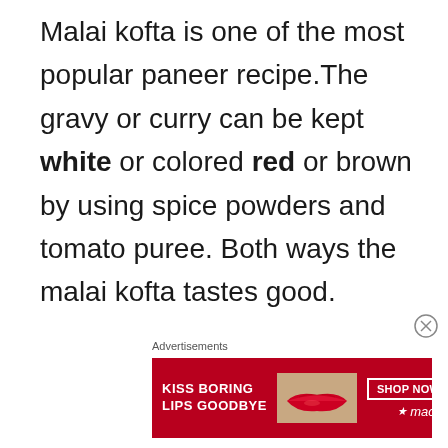Malai kofta is one of the most popular paneer recipe.The gravy or curry can be kept white or colored red or brown by using spice powders and tomato puree. Both ways the malai kofta tastes good.
[Figure (infographic): Advertisement banner: 'KISS BORING LIPS GOODBYE' with a photo of lips and a 'SHOP NOW' button with Macy's logo]
Advertisements